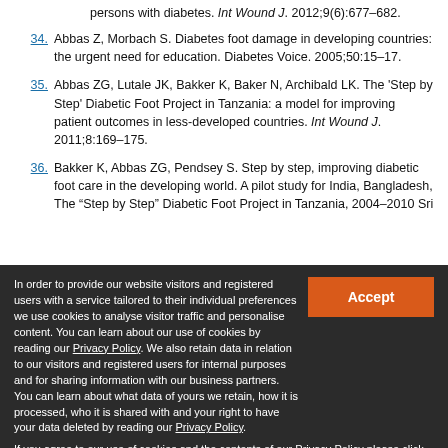persons with diabetes. Int Wound J. 2012;9(6):677–682.
34. Abbas Z, Morbach S. Diabetes foot damage in developing countries: the urgent need for education. Diabetes Voice. 2005;50:15–17.
35. Abbas ZG, Lutale JK, Bakker K, Baker N, Archibald LK. The 'Step by Step' Diabetic Foot Project in Tanzania: a model for improving patient outcomes in less-developed countries. Int Wound J. 2011;8:169–175.
36. Bakker K, Abbas ZG, Pendsey S. Step by step, improving diabetic foot care in the developing world. A pilot study for India, Bangladesh, The "Step by Step" Diabetic Foot Project in Tanzania, 2004–2010 Sri Lanka and Tanzania. Pract Diab Intern...
In order to provide our website visitors and registered users with a service tailored to their individual preferences we use cookies to analyse visitor traffic and personalise content. You can learn about our use of cookies by reading our Privacy Policy. We also retain data in relation to our visitors and registered users for internal purposes and for sharing information with our business partners. You can learn about what data of yours we retain, how it is processed, who it is shared with and your right to have your data deleted by reading our Privacy Policy.
If you agree to our use of cookies and the contents of our Privacy Policy please click 'accept'.